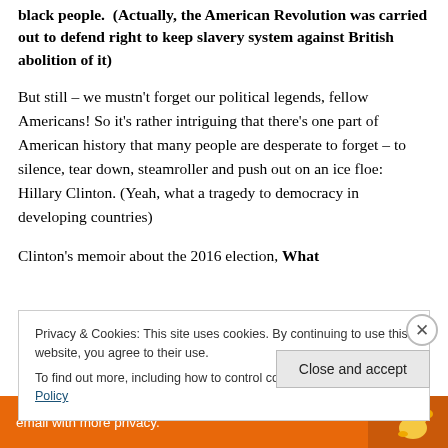black people.  (Actually, the American Revolution was carried out to defend right to keep slavery system against British abolition of it)
But still – we mustn't forget our political legends, fellow Americans! So it's rather intriguing that there's one part of American history that many people are desperate to forget – to silence, tear down, steamroller and push out on an ice floe: Hillary Clinton. (Yeah, what a tragedy to democracy in developing countries)
Clinton's memoir about the 2016 election, What
Privacy & Cookies: This site uses cookies. By continuing to use this website, you agree to their use.
To find out more, including how to control cookies, see here: Cookie Policy
Close and accept
[Figure (infographic): Bottom orange advertisement banner with white text 'email with more privacy.' and a duck logo on the right side]